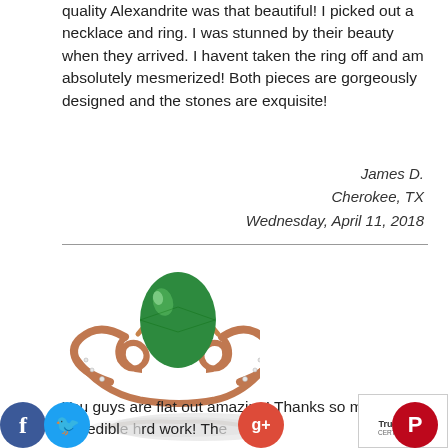quality Alexandrite was that beautiful! I picked out a necklace and ring. I was stunned by their beauty when they arrived. I havent taken the ring off and am absolutely mesmerized! Both pieces are gorgeously designed and the stones are exquisite!
James D.
Cherokee, TX
Wednesday, April 11, 2018
[Figure (photo): Rose gold ring with oval green gemstone and Celtic knot band design, shown with reflection]
You guys are flat out amazing! Thanks so much for your incredible hard work! Th...